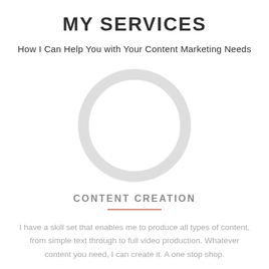MY SERVICES
How I Can Help You with Your Content Marketing Needs
[Figure (illustration): A large light gray circle outline (ring shape) centered on the page, representing a placeholder or icon area.]
CONTENT CREATION
I have a skill set that enables me to produce all types of content, from simple text through to full video production. Whatever content you need, I can create it. A one stop shop.